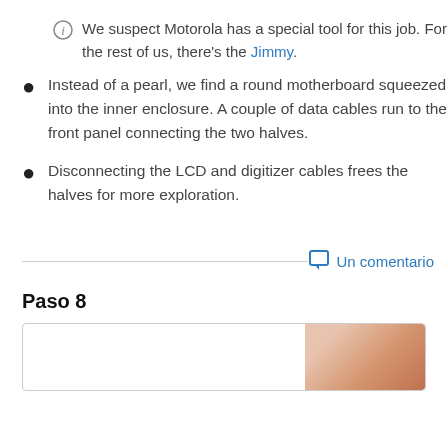We suspect Motorola has a special tool for this job. For the rest of us, there's the Jimmy.
Instead of a pearl, we find a round motherboard squeezed into the inner enclosure. A couple of data cables run to the front panel connecting the two halves.
Disconnecting the LCD and digitizer cables frees the halves for more exploration.
Un comentario
Paso 8
[Figure (photo): Partial image of a hand (finger visible) near a device, bottom of page.]